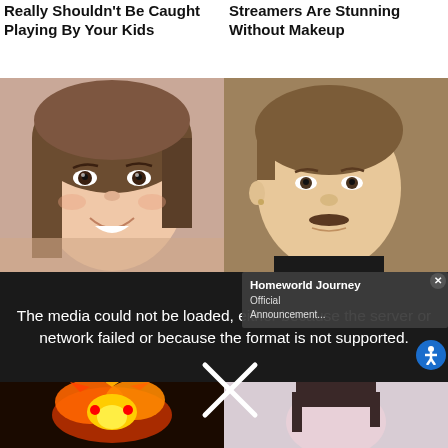Really Shouldn't Be Caught Playing By Your Kids
Streamers Are Stunning Without Makeup
[Figure (photo): Close-up photo of a young woman with long dark hair, smiling, wearing makeup]
[Figure (photo): Close-up photo of a young man with brown hair and a small mustache]
The media could not be loaded, either because the server or network failed or because the format is not supported.
Homeworld Journey Official Announcement...
[Figure (illustration): Stylized phoenix or fire creature illustration with orange and red flames]
[Figure (photo): Photo of a person with dark hair, partially visible at bottom right]